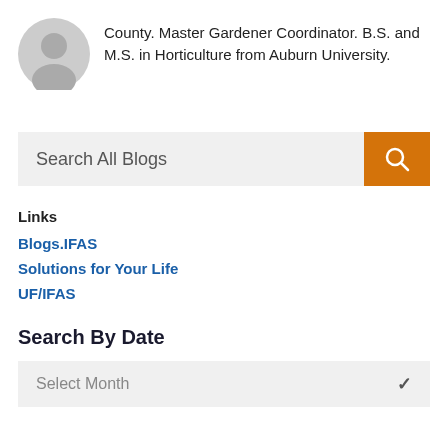[Figure (illustration): Gray circular avatar/profile placeholder icon]
County. Master Gardener Coordinator. B.S. and M.S. in Horticulture from Auburn University.
[Figure (other): Search All Blogs input field with orange search button containing a magnifying glass icon]
Links
Blogs.IFAS
Solutions for Your Life
UF/IFAS
Search By Date
Select Month